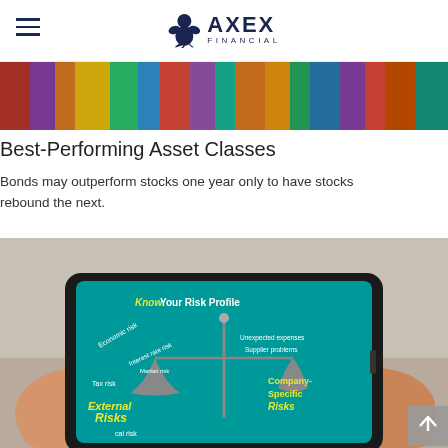AXEX FINANCIAL
[Figure (photo): Colorful crowd photo used as a decorative banner strip at the top of the article]
Best-Performing Asset Classes
Bonds may outperform stocks one year only to have stocks rebound the next.
[Figure (photo): Person holding a tablet displaying an infographic titled 'Know Your Risk Profile' with a balance scale showing External Risks and Company-Specific Risks, along with various risk types such as Economic risk, Interest rate risk, Tax risk, Market risk, Supplier problems, Unexpected expenses]